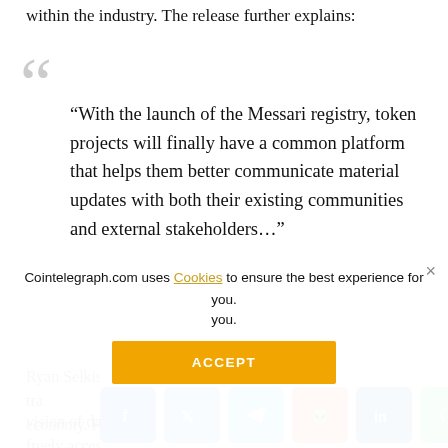within the industry. The release further explains:
“With the launch of the Messari registry, token projects will finally have a common platform that helps them better communicate material updates with both their existing communities and external stakeholders…”
Ryan Selkis, the CEO of Messari, stated that transparency is a key component of a healthy crypto economy. He noted that participating projects “share our vision of data being freely accessible to all market participants, rather than locked behind the paywalls of an expensive data provider.”
[Figure (infographic): Social media share buttons: Facebook, Twitter, Telegram, Reddit, LinkedIn, WhatsApp, Copy, Scroll-up]
Cointelegraph.com uses Cookies to ensure the best experience for you.
ACCEPT